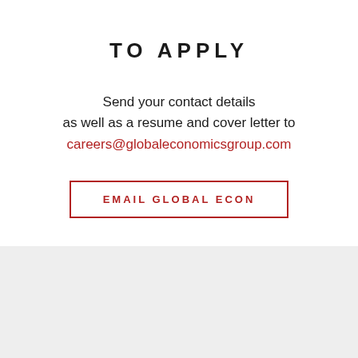TO APPLY
Send your contact details
as well as a resume and cover letter to
careers@globaleconomicsgroup.com
EMAIL GLOBAL ECON